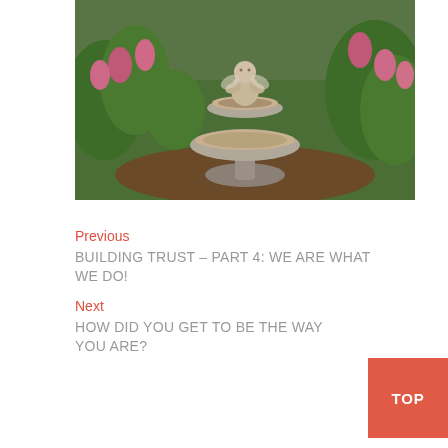[Figure (photo): A garden bird bath fountain with a cherub/child statue seated on top, surrounded by pink flowers and green grass/plants]
Previous
BUILDING TRUST – PART 4: WE ARE WHAT WE DO!
Next
HOW DID YOU GET TO BE THE WAY YOU ARE?
TOP